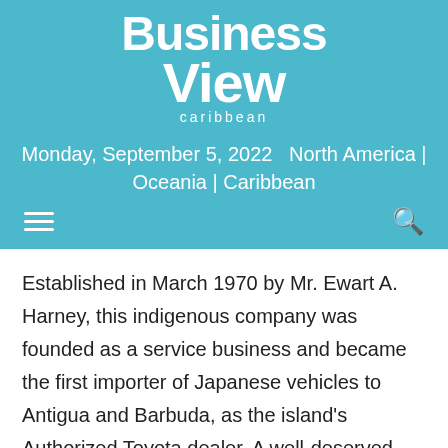[Figure (logo): Business View Caribbean logo in white text on teal background]
Monday, September 5, 2022   North America | Oceania | Caribbean
Established in March 1970 by Mr. Ewart A. Harney, this indigenous company was founded as a service business and became the first importer of Japanese vehicles to Antigua and Barbuda, as the island's Authorized Toyota dealer. A well-deserved reputation for the best in quality, sales, and service has contributed to decades of success for